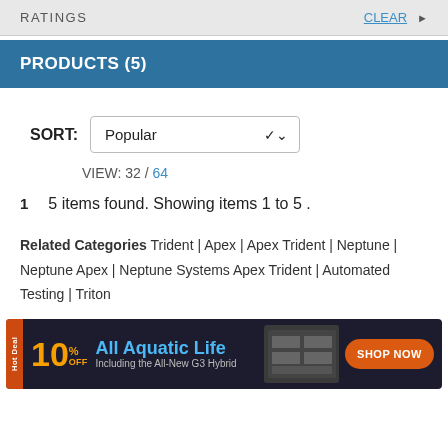RATINGS  CLEAR
PRODUCTS (5)
SORT: Popular
VIEW: 32 / 64
1   5 items found. Showing items 1 to 5 .
Related Categories Trident | Apex | Apex Trident | Neptune | Neptune Apex | Neptune Systems Apex Trident | Automated Testing | Triton
[Figure (infographic): Hot Deal advertisement banner: 10% OFF All Aquatic Life Including the All-New G3 Hybrid. Shop Now button with product image.]